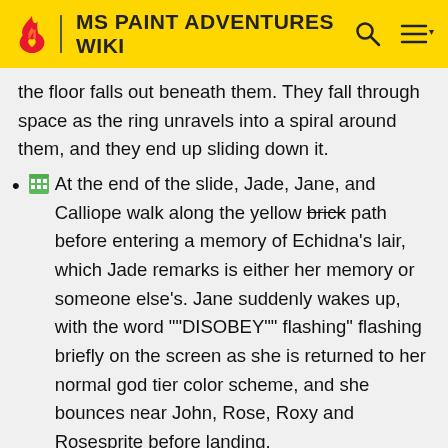MS PAINT ADVENTURES WIKI
the floor falls out beneath them. They fall through space as the ring unravels into a spiral around them, and they end up sliding down it.
At the end of the slide, Jade, Jane, and Calliope walk along the yellow brick path before entering a memory of Echidna's lair, which Jade remarks is either her memory or someone else's. Jane suddenly wakes up, with the word ""DISOBEY"" flashing" flashing briefly on the screen as she is returned to her normal god tier color scheme, and she bounces near John, Rose, Roxy and Rosesprite before landing.
Arquiusprite congratulates himself on his accomplishment and fucks off to who knows where. Jane apologizes to Roxy for killing her, and they